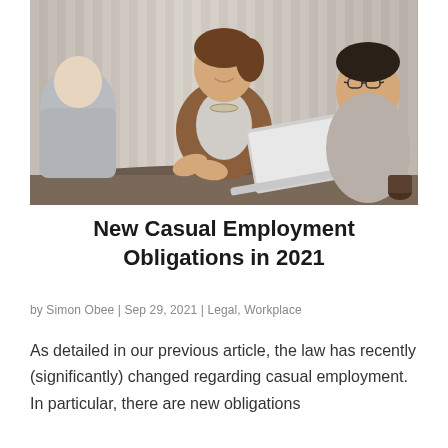[Figure (photo): Three people in a meeting around a table with a laptop, woman in the center smiling and gesturing, two men on either side listening]
New Casual Employment Obligations in 2021
by Simon Obee | Sep 29, 2021 | Legal, Workplace
As detailed in our previous article, the law has recently (significantly) changed regarding casual employment. In particular, there are new obligations